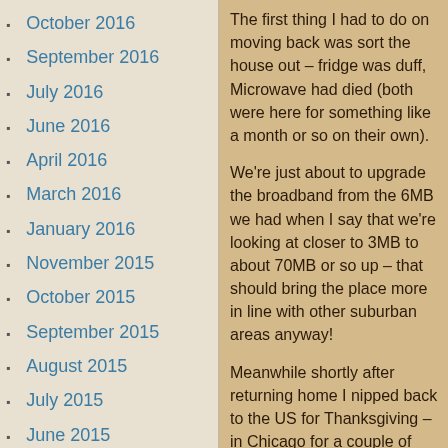October 2016
September 2016
July 2016
June 2016
April 2016
March 2016
January 2016
November 2015
October 2015
September 2015
August 2015
July 2015
June 2015
May 2015
March 2015
February 2015
January 2015
December 2014
November 2014
The first thing I had to do on moving back was sort the house out – fridge was duff, Microwave had died (both were here for something like a month or so on their own).
We're just about to upgrade the broadband from the 6MB we had when I say that we're looking at closer to 3MB to about 70MB or so up – that should bring the place more in line with other suburban areas anyway!
Meanwhile shortly after returning home I nipped back to the US for Thanksgiving – in Chicago for a couple of days. For the most part, people are super friendly in the States and as far as I can tell nothing significant has changed from a social perspective (80s rock and country and western are still huge), although they don't seem to have changed their prices at all with respect to the price of fuel. Americans may complain about fuel prices but paying £20 to fill up the tank you really notice the subsidy.
At one point we went down to an Apple store to have a look since they introduced the “Raspberry Pi” magazine cover – Made in Ireland you’d think we’d get one if we had half a chance. In the USA I picked them up – they were like gold-dust and people are selling them online for about twice that with the magazine too.
So, I'm back, Maureen is back and the renovation of the house begins.